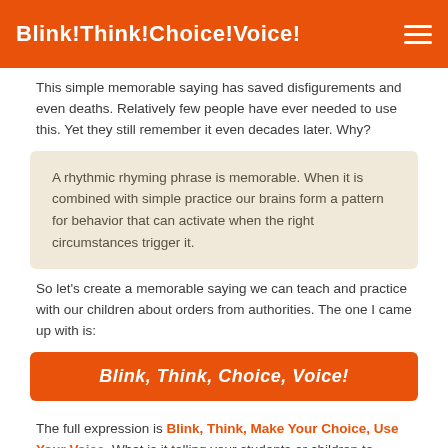Blink!Think!Choice!Voice!
This simple memorable saying has saved disfigurements and even deaths. Relatively few people have ever needed to use this. Yet they still remember it even decades later. Why?
A rhythmic rhyming phrase is memorable. When it is combined with simple practice our brains form a pattern for behavior that can activate when the right circumstances trigger it.
So let’s create a memorable saying we can teach and practice with our children about orders from authorities. The one I came up with is:
Blink, Think, Choice, Voice!
The full expression is Blink, Think, Make Your Choice, Use Your Voice. What is it telling your students or children to remember?
It is teaching them how to say “no” when saying “yes” would be harmful. This is known as Intelligent Disobedience. It is a critical